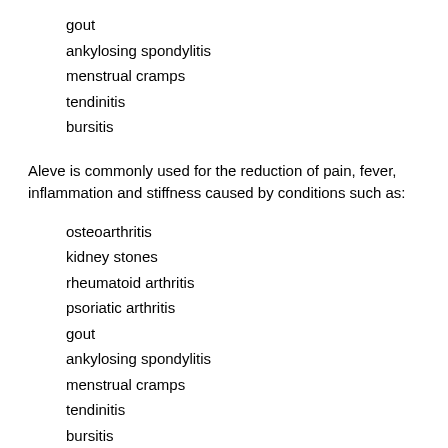gout
ankylosing spondylitis
menstrual cramps
tendinitis
bursitis
Aleve is commonly used for the reduction of pain, fever, inflammation and stiffness caused by conditions such as:
osteoarthritis
kidney stones
rheumatoid arthritis
psoriatic arthritis
gout
ankylosing spondylitis
menstrual cramps
tendinitis
bursitis
INSTRUCTIONS
Take Aleve exactly as directed on the label, or as it has been prescribed by your doctor. Do not use the medication in larger amounts, or use it for longer than recommended. Do not crush, chew, or break an extended-release or